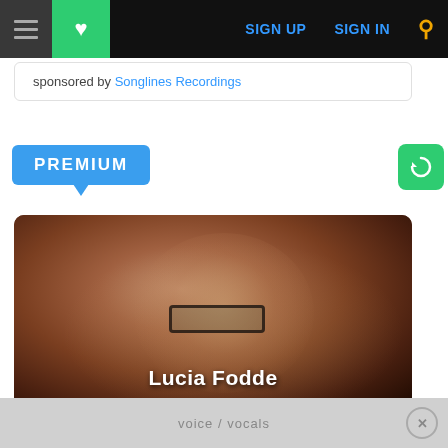[Figure (screenshot): Website navigation bar with hamburger menu, green heart button, SIGN UP and SIGN IN links in blue, and orange search icon, on black background]
sponsored by Songlines Recordings
PREMIUM
[Figure (photo): Photo of Lucia Fodde, a woman with curly auburn hair and cat-eye glasses, looking upward, with name overlay at bottom reading Lucia Fodde]
voice / vocals